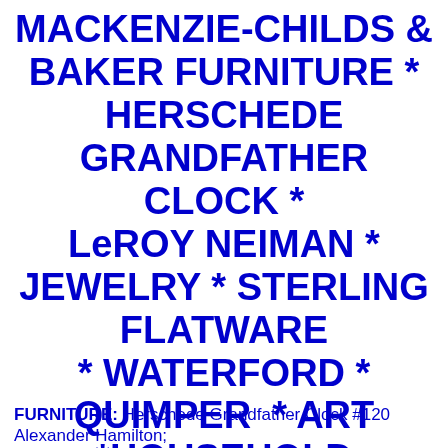MACKENZIE-CHILDS & BAKER FURNITURE * HERSCHEDE GRANDFATHER CLOCK * LeROY NEIMAN * JEWELRY * STERLING FLATWARE * WATERFORD * QUIMPER * ART *HOUSEHOLD
FURNITURE: Herschede Grandfather Clock #120 Alexander Hamilton;